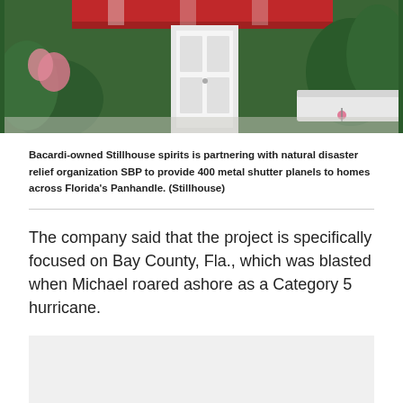[Figure (photo): Exterior photo of a house with green walls, a red awning, white door, and plants/flowers in the foreground and background]
Bacardi-owned Stillhouse spirits is partnering with natural disaster relief organization SBP to provide 400 metal shutter planels to homes across Florida's Panhandle. (Stillhouse)
The company said that the project is specifically focused on Bay County, Fla., which was blasted when Michael roared ashore as a Category 5 hurricane.
HURRICANE SEASON 2020 NAMES AND HOW THEY GET PICKED